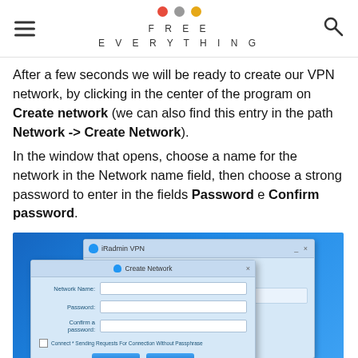FREE EVERYTHING
After a few seconds we will be ready to create our VPN network, by clicking in the center of the program on Create network (we can also find this entry in the path Network -> Create Network). In the window that opens, choose a name for the network in the Network name field, then choose a strong password to enter in the fields Password e Confirm password.
[Figure (screenshot): Screenshot of iRadmin VPN application showing a 'Create Network' dialog with fields for Network Name, Password, and Confirm password, overlaid on the main application window showing DESKTOP-PNOS34J.]